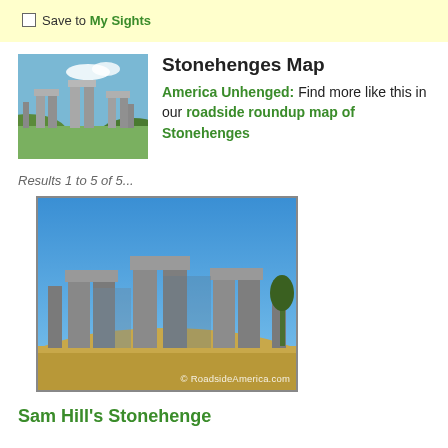Save to My Sights
Stonehenges Map
America Unhenged: Find more like this in our roadside roundup map of Stonehenges
[Figure (photo): Photo of a Stonehenge replica structure with stone pillars and blue sky]
Results 1 to 5 of 5...
[Figure (photo): Photo of Sam Hill's Stonehenge memorial replica in Washington, a concrete stonehenge-like structure on a hill with dry grass and blue sky. Watermark: © RoadsideAmerica.com]
Sam Hill's Stonehenge